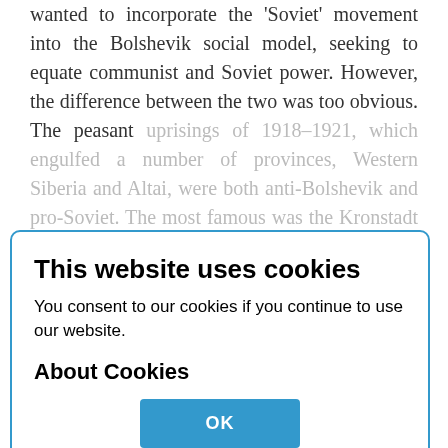wanted to incorporate the 'Soviet' movement into the Bolshevik social model, seeking to equate communist and Soviet power. However, the difference between the two was too obvious. The peasant uprisings of 1918–1921, which engulfed a number of provinces, Western Siberia and Altai, were both anti-Bolshevik and pro-Soviet. The most famous was the Kronstadt uprising of revolutionary sailors, ruthlessly suppressed in 1921, who put forward, among other things, the demand to purge the soviets of communists and turn them into a non-party organ of self-government. The uprising was eliminated by the former leader of the Petrosoviet in 1905 and 1917, L.D. Trotsky. He was one of the leaders of
This website uses cookies
You consent to our cookies if you continue to use our website.
About Cookies
OK